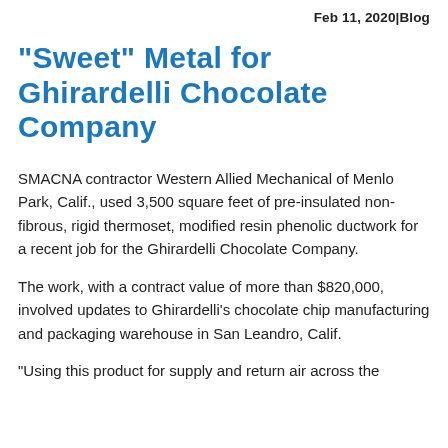Feb 11, 2020|Blog
"Sweet" Metal for Ghirardelli Chocolate Company
SMACNA contractor Western Allied Mechanical of Menlo Park, Calif., used 3,500 square feet of pre-insulated non-fibrous, rigid thermoset, modified resin phenolic ductwork for a recent job for the Ghirardelli Chocolate Company.
The work, with a contract value of more than $820,000, involved updates to Ghirardelli's chocolate chip manufacturing and packaging warehouse in San Leandro, Calif.
“Using this product for supply and return air across the